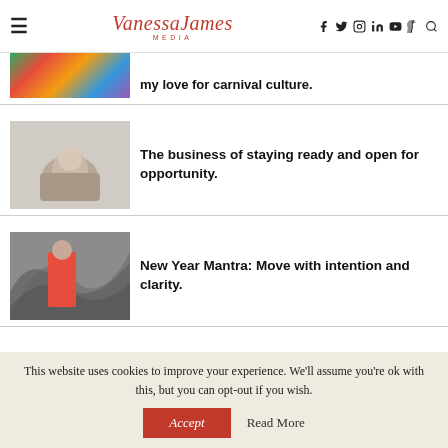Vanessa James Media — navigation header with hamburger menu, logo, social icons (Facebook, Twitter, Instagram, LinkedIn, YouTube, TikTok), and search
my love for carnival culture.
The business of staying ready and open for opportunity.
New Year Mantra: Move with intention and clarity.
This website uses cookies to improve your experience. We'll assume you're ok with this, but you can opt-out if you wish.